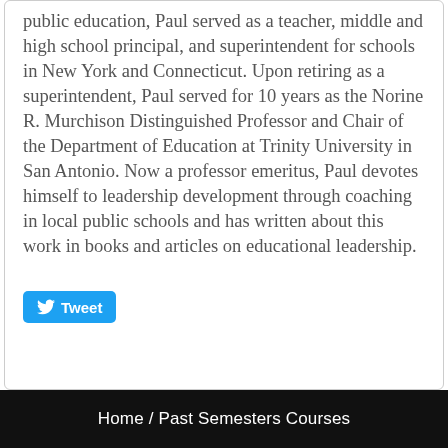public education, Paul served as a teacher, middle and high school principal, and superintendent for schools in New York and Connecticut. Upon retiring as a superintendent, Paul served for 10 years as the Norine R. Murchison Distinguished Professor and Chair of the Department of Education at Trinity University in San Antonio. Now a professor emeritus, Paul devotes himself to leadership development through coaching in local public schools and has written about this work in books and articles on educational leadership.
[Figure (other): Twitter Tweet button]
Home / Past Semesters Courses